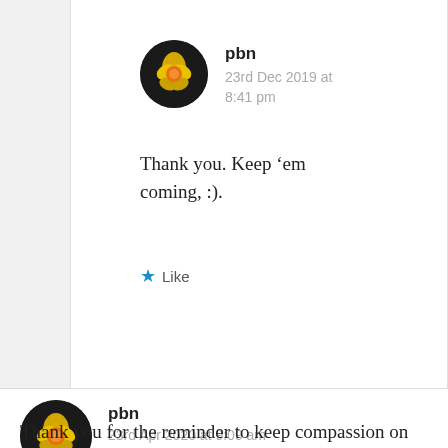pbn
23rd Dec 2019 at 8:41 pm
Thank you. Keep ‘em coming, :).
Like
pbn
23rd Apr 2020 at 9:09 am
Thank you for the reminder to keep compassion on